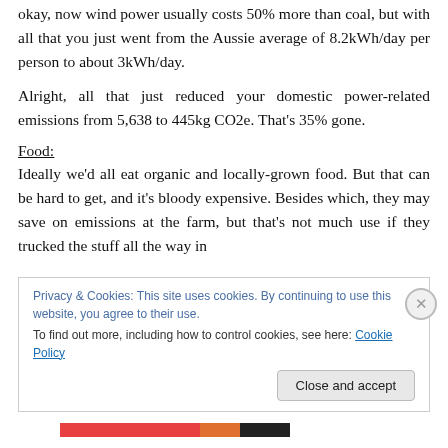okay, now wind power usually costs 50% more than coal, but with all that you just went from the Aussie average of 8.2kWh/day per person to about 3kWh/day.
Alright, all that just reduced your domestic power-related emissions from 5,638 to 445kg CO2e. That's 35% gone.
Food:
Ideally we'd all eat organic and locally-grown food. But that can be hard to get, and it's bloody expensive. Besides which, they may save on emissions at the farm, but that's not much use if they trucked the stuff all the way in
Privacy & Cookies: This site uses cookies. By continuing to use this website, you agree to their use.
To find out more, including how to control cookies, see here: Cookie Policy